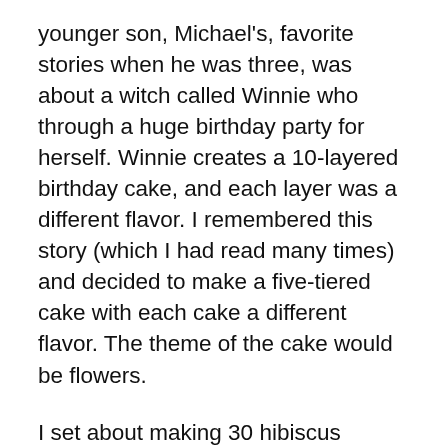younger son, Michael's, favorite stories when he was three, was about a witch called Winnie who through a huge birthday party for herself. Winnie creates a 10-layered birthday cake, and each layer was a different flavor. I remembered this story (which I had read many times) and decided to make a five-tiered cake with each cake a different flavor. The theme of the cake would be flowers.
I set about making 30 hibiscus flowers from fondant (sugar dough) to decorate this cake. I used a variety of colors including pink, purple, yellow, orange, and red. I baked the four layers: the first and largest was a fruit cake, the second was a hummingbird cake, the third was a vanilla